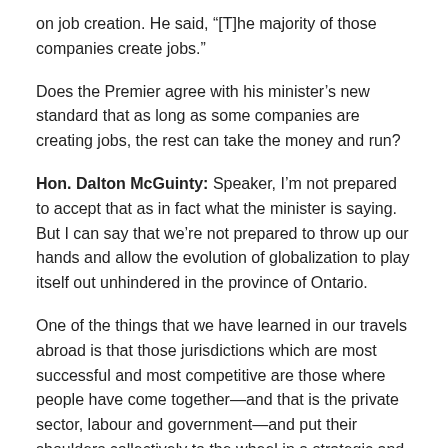on job creation. He said, “[T]he majority of those companies create jobs.”
Does the Premier agree with his minister’s new standard that as long as some companies are creating jobs, the rest can take the money and run?
Hon. Dalton McGuinty: Speaker, I’m not prepared to accept that as in fact what the minister is saying. But I can say that we’re not prepared to throw up our hands and allow the evolution of globalization to play itself out unhindered in the province of Ontario.
One of the things that we have learned in our travels abroad is that those jurisdictions which are most successful and most competitive are those where people have come together—and that is the private sector, labour and government—and put their shoulders collectively to the wheel in a strategic and intelligent way. So that’s what we’re doing here in Ontario.